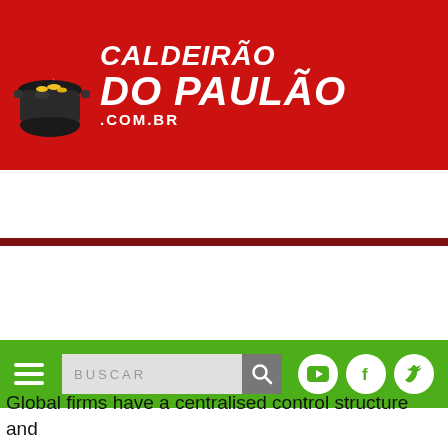[Figure (logo): Caldeirão do Paulão website header logo with cauldron icon and site name text on red background]
[Figure (screenshot): Green navigation bar with hamburger menu, search box, and social media icons (YouTube, Facebook, Twitter)]
[Figure (photo): Broken/missing image placeholder on light gray background]
Global firms have a centralised control structure and